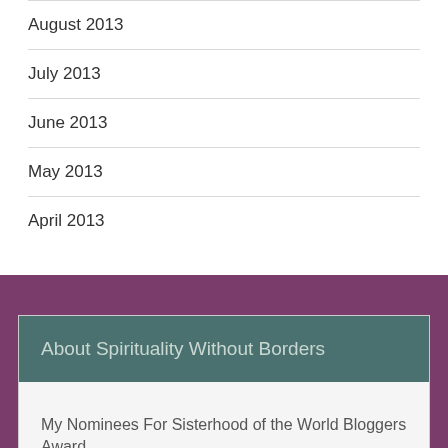August 2013
July 2013
June 2013
May 2013
April 2013
About Spirituality Without Borders
My Nominees For Sisterhood of the World Bloggers Award
My Nominees For Versatile Blogger Award